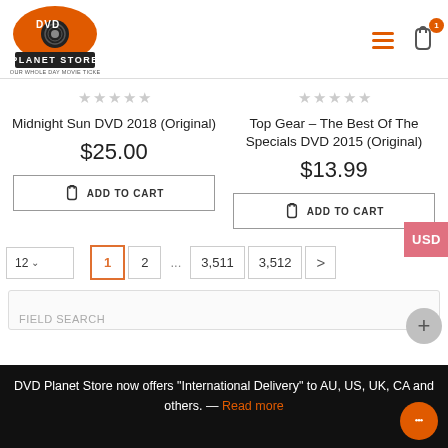[Figure (logo): DVD Planet Store logo - orange circle with DVD vinyl disc graphic and 'PLANET STORE' text, with tagline 'YOUR WHOLE DAY MOVIE TICKET']
Midnight Sun DVD 2018 (Original)
$25.00
ADD TO CART
Top Gear – The Best Of The Specials DVD 2015 (Original)
$13.99
ADD TO CART
USD
12
1
2
...
3,511
3,512
>
DVD Planet Store now offers "International Delivery" to AU, US, UK, CA and others. — Read more